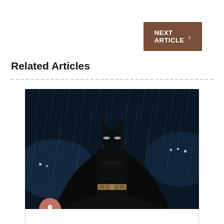NEXT ARTICLE >
Related Articles
[Figure (photo): Batman in full costume standing in the rain in a dark city street scene. The Dark Knight Rises promotional image.]
Alonso, 26 marzo 2016